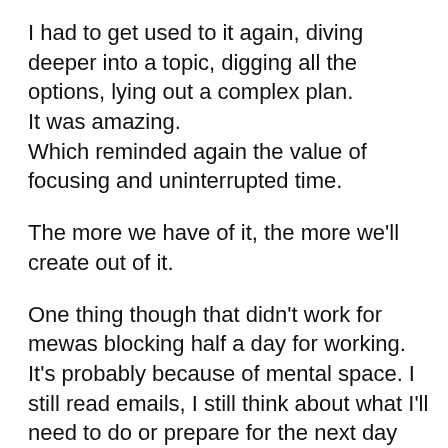I had to get used to it again, diving deeper into a topic, digging all the options, lying out a complex plan.
It was amazing.
Which reminded again the value of focusing and uninterrupted time.
The more we have of it, the more we'll create out of it.
One thing though that didn't work for mewas blocking half a day for working.
It's probably because of mental space. I still read emails, I still think about what I'll need to do or prepare for the next day and so on.